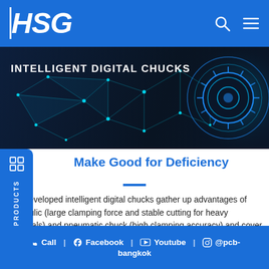[Figure (logo): HSG logo in white italic bold text on blue navigation bar with search and menu icons]
[Figure (illustration): Dark banner with white text reading INTELLIGENT DIGITAL CHUCKS, featuring a glowing blue network/mesh pattern and a circular gear/chuck graphic on the right]
Make Good for Deficiency
self-developed intelligent digital chucks gather up advantages of hydraulic (large clamping force and stable cutting for heavy materials) and pneumatic chuck (high clamping accuracy) and cover the shortage of them, namely,
Call | Facebook | Youtube | @pcb-bangkok